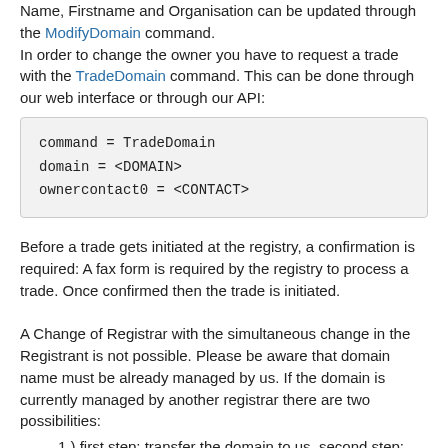Name, Firstname and Organisation can be updated through the ModifyDomain command.
In order to change the owner you have to request a trade with the TradeDomain command. This can be done through our web interface or through our API:
command = TradeDomain
domain = <DOMAIN>
ownercontact0 = <CONTACT>
Before a trade gets initiated at the registry, a confirmation is required: A fax form is required by the registry to process a trade. Once confirmed then the trade is initiated.
A Change of Registrar with the simultaneous change in the Registrant is not possible. Please be aware that domain name must be already managed by us. If the domain is currently managed by another registrar there are two possibilities:
1.) first step: transfer the domain to us, second step: trade the domain with us.
2.) first step: trade the domain with the current registrar...